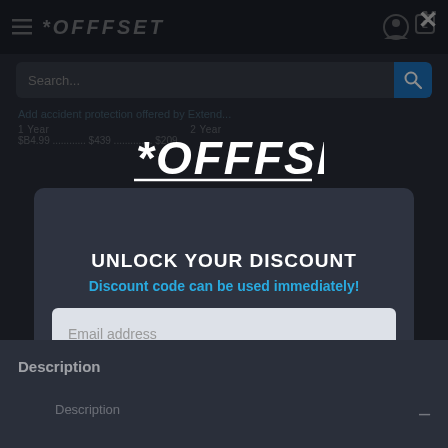[Figure (screenshot): OFFSET website screenshot showing dark-themed navigation bar with hamburger menu, OFFSET logo, user and cart icons, search bar, and background product page content]
UNLOCK YOUR DISCOUNT
Discount code can be used immediately!
Email address
CONTINUE